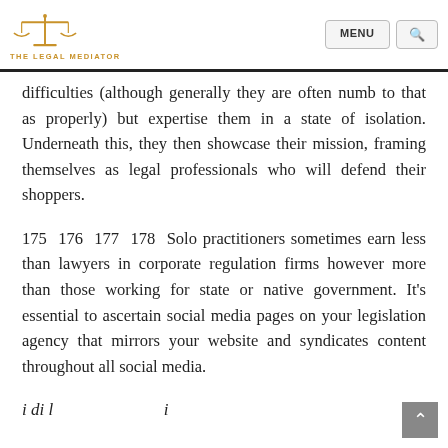THE LEGAL MEDIATOR [logo with nav: MENU, search]
difficulties (although generally they are often numb to that as properly) but expertise them in a state of isolation. Underneath this, they then showcase their mission, framing themselves as legal professionals who will defend their shoppers.
175 176 177 178 Solo practitioners sometimes earn less than lawyers in corporate regulation firms however more than those working for state or native government. It’s essential to ascertain social media pages on your legislation agency that mirrors your website and syndicates content throughout all social media.
i di l i